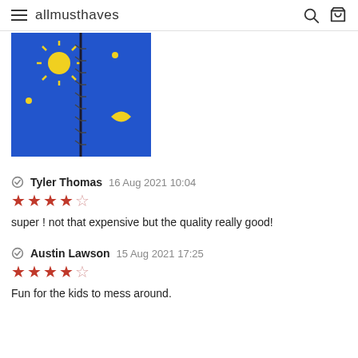allmusthaves
[Figure (photo): Blue fabric with yellow sun and moon patterns, with a zipper running down the center — product photo for a onesie or pajama item.]
Tyler Thomas 16 Aug 2021 10:04
★★★★☆
super ! not that expensive but the quality really good!
Austin Lawson 15 Aug 2021 17:25
★★★★☆
Fun for the kids to mess around.